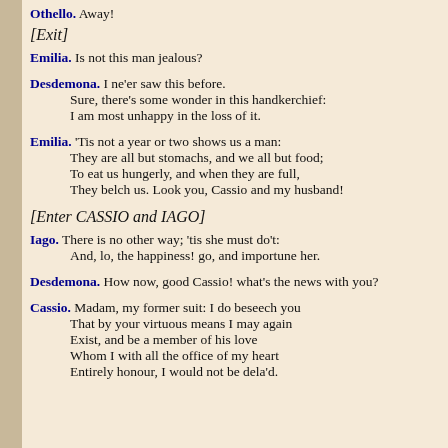Othello. Away!
[Exit]
Emilia. Is not this man jealous?
Desdemona. I ne'er saw this before.
Sure, there's some wonder in this handkerchief:
I am most unhappy in the loss of it.
Emilia. 'Tis not a year or two shows us a man:
They are all but stomachs, and we all but food;
To eat us hungerly, and when they are full,
They belch us. Look you, Cassio and my husband!
[Enter CASSIO and IAGO]
Iago. There is no other way; 'tis she must do't:
And, lo, the happiness! go, and importune her.
Desdemona. How now, good Cassio! what's the news with you?
Cassio. Madam, my former suit: I do beseech you
That by your virtuous means I may again
Exist, and be a member of his love
Whom I with all the office of my heart
Entirely honour, I would not be dela'd.